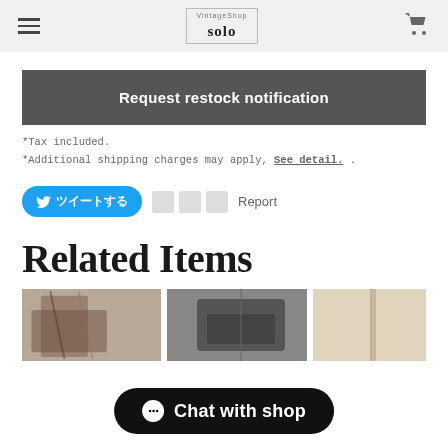VintageShop solo
Request restock notification
*Tax included.
*Additional shipping charges may apply. See detail.
ツイートする   □□□   Report
Related Items
[Figure (photo): Product images row showing bags and accessories]
Chat with shop